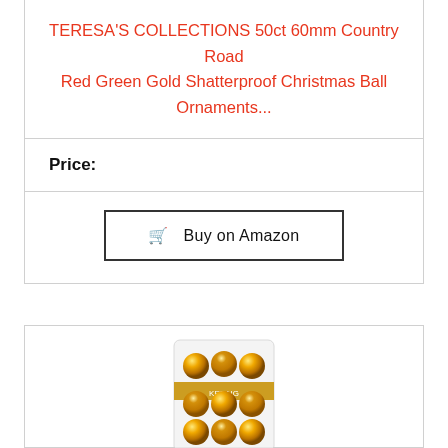TERESA'S COLLECTIONS 50ct 60mm Country Road Red Green Gold Shatterproof Christmas Ball Ornaments...
Price:
Buy on Amazon
[Figure (photo): Package of gold Christmas ball ornaments in a clear plastic container, showing multiple shiny and textured gold ornament balls]